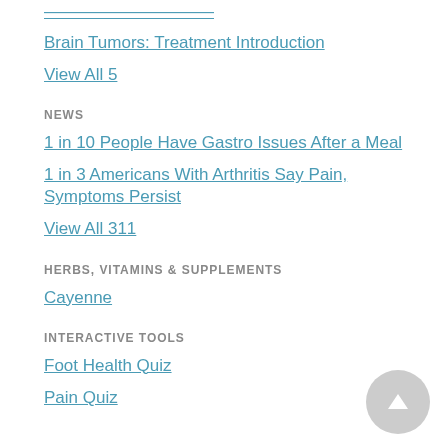Brain Tumors: Treatment Introduction
View All 5
NEWS
1 in 10 People Have Gastro Issues After a Meal
1 in 3 Americans With Arthritis Say Pain, Symptoms Persist
View All 311
HERBS, VITAMINS & SUPPLEMENTS
Cayenne
INTERACTIVE TOOLS
Foot Health Quiz
Pain Quiz